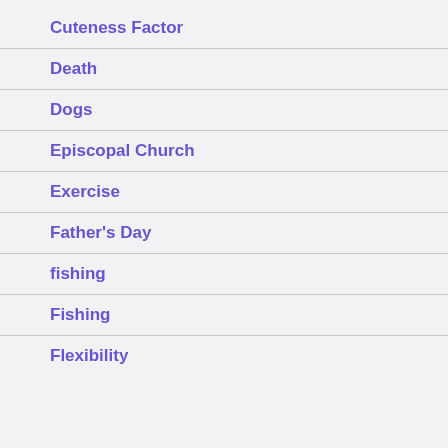Cuteness Factor
Death
Dogs
Episcopal Church
Exercise
Father's Day
fishing
Fishing
Flexibility